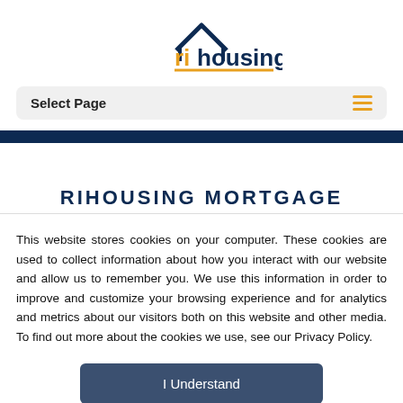[Figure (logo): RIHousing logo with house roof graphic, 'ri' in orange and 'housing' in dark blue, underline in orange]
Select Page
RIHOUSING MORTGAGE
This website stores cookies on your computer. These cookies are used to collect information about how you interact with our website and allow us to remember you. We use this information in order to improve and customize your browsing experience and for analytics and metrics about our visitors both on this website and other media. To find out more about the cookies we use, see our Privacy Policy.
I Understand